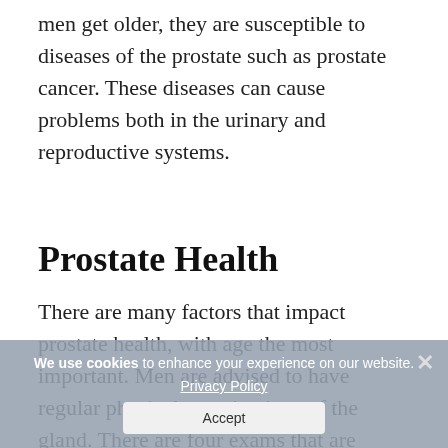men get older, they are susceptible to diseases of the prostate such as prostate cancer. These diseases can cause problems both in the urinary and reproductive systems.
Prostate Health
There are many factors that impact prostate health, with age the most important. Men are advised to have regular physical examinations of the gland. There are four exams that are common to evaluate the health of the prostate. The first of them is a digital